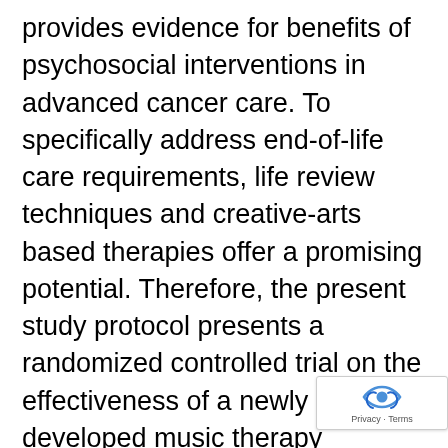provides evidence for benefits of psychosocial interventions in advanced cancer care. To specifically address end-of-life care requirements, life review techniques and creative-arts based therapies offer a promising potential. Therefore, the present study protocol presents a randomized controlled trial on the effectiveness of a newly developed music therapy technique that is based on a biographically meaningful song ("Song of Life"; SOL). METHODS: In a design with two parallel arms, 104 patients at two palliative care units will be randomly assigned to three sessions of either SOL (experimental group) or relaxation exercises (control group). Improvements in the psychological domain of quality of life will be primary endpoint, while secondary outcomes